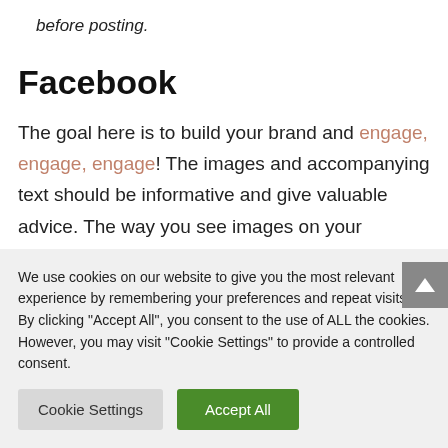before posting.
Facebook
The goal here is to build your brand and engage, engage, engage! The images and accompanying text should be informative and give valuable advice. The way you see images on your timeline isn't necessarily the
We use cookies on our website to give you the most relevant experience by remembering your preferences and repeat visits. By clicking "Accept All", you consent to the use of ALL the cookies. However, you may visit "Cookie Settings" to provide a controlled consent.